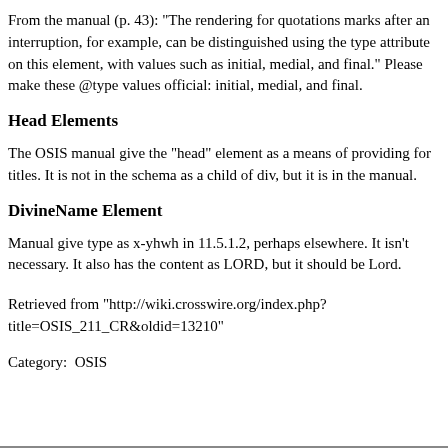From the manual (p. 43): "The rendering for quotations marks after an interruption, for example, can be distinguished using the type attribute on this element, with values such as initial, medial, and final." Please make these @type values official: initial, medial, and final.
Head Elements
The OSIS manual give the "head" element as a means of providing for titles. It is not in the schema as a child of div, but it is in the manual.
DivineName Element
Manual give type as x-yhwh in 11.5.1.2, perhaps elsewhere. It isn't necessary. It also has the content as LORD, but it should be Lord.
Retrieved from "http://wiki.crosswire.org/index.php?title=OSIS_211_CR&oldid=13210"
Category:  OSIS